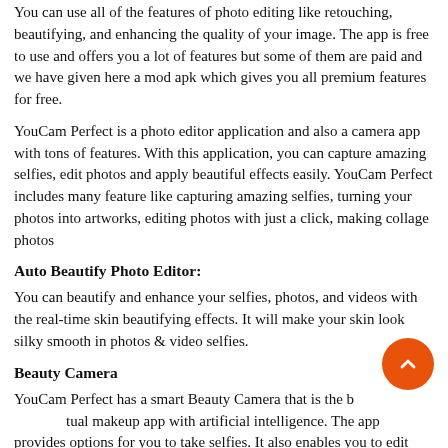You can use all of the features of photo editing like retouching, beautifying, and enhancing the quality of your image. The app is free to use and offers you a lot of features but some of them are paid and we have given here a mod apk which gives you all premium features for free.
YouCam Perfect is a photo editor application and also a camera app with tons of features. With this application, you can capture amazing selfies, edit photos and apply beautiful effects easily. YouCam Perfect includes many feature like capturing amazing selfies, turning your photos into artworks, editing photos with just a click, making collage photos
Auto Beautify Photo Editor:
You can beautify and enhance your selfies, photos, and videos with the real-time skin beautifying effects. It will make your skin look silky smooth in photos & video selfies.
Beauty Camera
YouCam Perfect has a smart Beauty Camera that is the best virtual makeup app with artificial intelligence. The app provides options for you to take selfies. It also enables you to edit your photos. You can